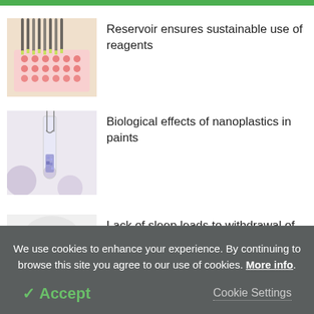[Figure (photo): Laboratory pipette with multi-channel pipettor dispensing pink reagent into a white 96-well microplate]
Reservoir ensures sustainable use of reagents
[Figure (photo): Glass test tube held by forceps containing blue/purple crystalline or particulate material on a light background]
Biological effects of nanoplastics in paints
[Figure (photo): Partial thumbnail of a third article image (light grey/white, mostly cropped)]
Lack of sleep leads to withdrawal of
We use cookies to enhance your experience. By continuing to browse this site you agree to our use of cookies. More info.
✓ Accept
Cookie Settings